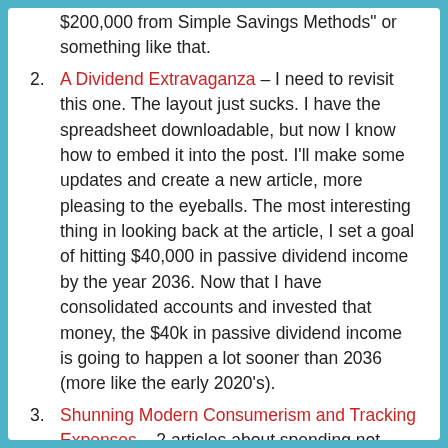$200,000 from Simple Savings Methods" or something like that.
A Dividend Extravaganza – I need to revisit this one. The layout just sucks.  I have the spreadsheet downloadable, but now I know how to embed it into the post.  I'll make some updates and create a new article, more pleasing to the eyeballs.  The most interesting thing in looking back at the article, I set a goal of hitting $40,000 in passive dividend income by the year 2036.  Now that I have consolidated accounts and invested that money, the $40k in passive dividend income is going to happen a lot sooner than 2036 (more like the early 2020's).
Shunning Modern Consumerism and Tracking Expenses – 2 articles about spending not doing so hot...I think a pattern may be developing.  I